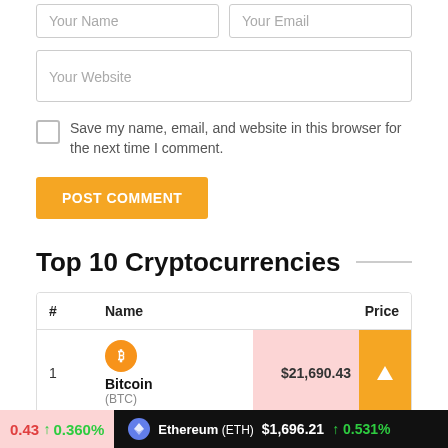[Figure (screenshot): Web form with name, email, website input fields and a POST COMMENT button]
Top 10 Cryptocurrencies
| # | Name | Price |
| --- | --- | --- |
| 1 | Bitcoin (BTC) | $21,690.43 |
0.43 ↑ 0.360%  Ethereum (ETH) $1,696.21 ↑ 0.531%